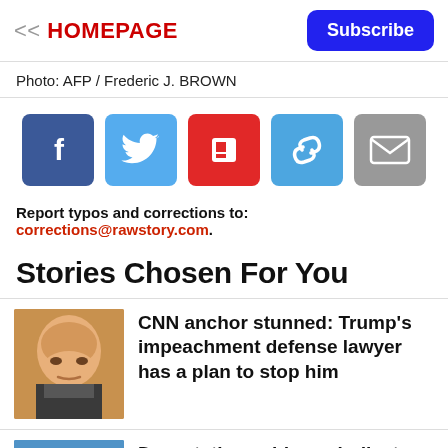<< HOMEPAGE   Subscribe
Photo: AFP / Frederic J. BROWN
[Figure (infographic): Social share buttons: Facebook, Twitter, Flipboard, Link, Email]
Report typos and corrections to: corrections@rawstory.com.
Stories Chosen For You
[Figure (photo): Photo of Donald Trump making a pouty face]
CNN anchor stunned: Trump's impeachment defense lawyer has a plan to stop him
[Figure (photo): Partial photo thumbnail (blue background)]
Devastating evidence indicates that